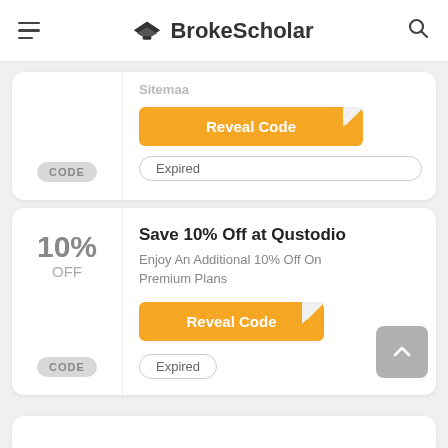BrokeScholar
[Figure (screenshot): Partial coupon card at top showing Reveal Code button and Expired badge, CODE label at bottom left]
10% OFF
Save 10% Off at Qustodio
Enjoy An Additional 10% Off On Premium Plans
Reveal Code
Expired
CODE